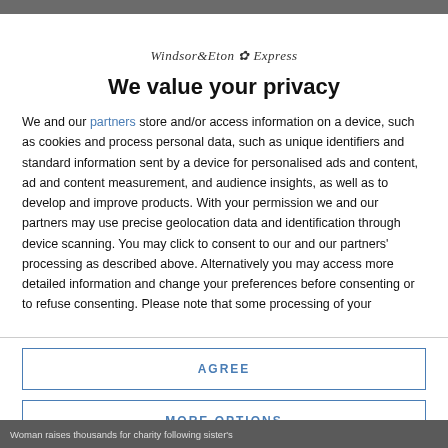[Figure (logo): Windsor & Eton Express newspaper logo]
We value your privacy
We and our partners store and/or access information on a device, such as cookies and process personal data, such as unique identifiers and standard information sent by a device for personalised ads and content, ad and content measurement, and audience insights, as well as to develop and improve products. With your permission we and our partners may use precise geolocation data and identification through device scanning. You may click to consent to our and our partners' processing as described above. Alternatively you may access more detailed information and change your preferences before consenting or to refuse consenting. Please note that some processing of your
AGREE
MORE OPTIONS
Woman raises thousands for charity following sister's